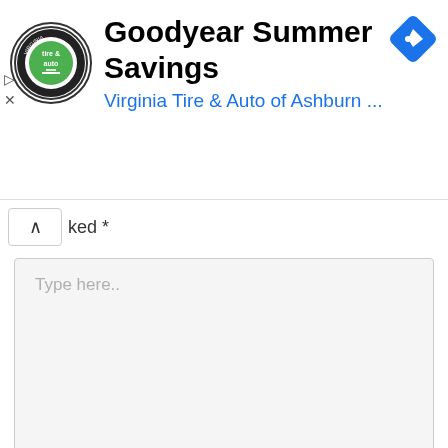[Figure (screenshot): Advertisement banner for Goodyear Summer Savings by Virginia Tire & Auto of Ashburn, with logo, title, subtitle, navigation icon, and ad controls]
ked *
[Figure (screenshot): Text area input box with placeholder text 'Type here..' and a red scroll-to-top button in the bottom right corner]